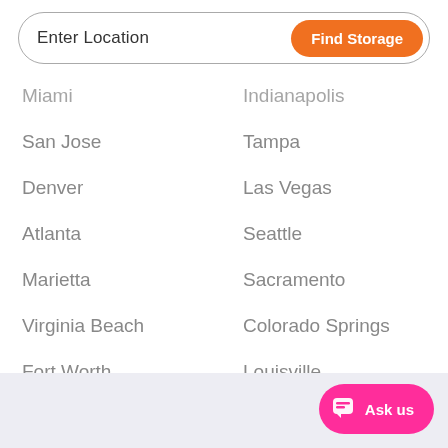[Figure (screenshot): Search bar with 'Enter Location' placeholder text on the left and an orange 'Find Storage' button on the right, with rounded pill shape border.]
Miami
Indianapolis
San Jose
Tampa
Denver
Las Vegas
Atlanta
Seattle
Marietta
Sacramento
Virginia Beach
Colorado Springs
Fort Worth
Louisville
Phoenix
Portland
[Figure (screenshot): Pink 'Ask us' chat button in the bottom right corner with a chat bubble icon.]